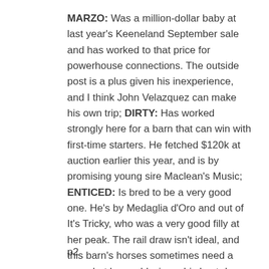MARZO: Was a million-dollar baby at last year's Keeneland September sale and has worked to that price for powerhouse connections. The outside post is a plus given his inexperience, and I think John Velazquez can make his own trip; DIRTY: Has worked strongly here for a barn that can win with first-time starters. He fetched $120k at auction earlier this year, and is by promising young sire Maclean's Music; ENTICED: Is bred to be a very good one. He's by Medaglia d'Oro and out of It's Tricky, who was a very good filly at her peak. The rail draw isn't ideal, and this barn's horses sometimes need a race, but he could win on his best day.
p2